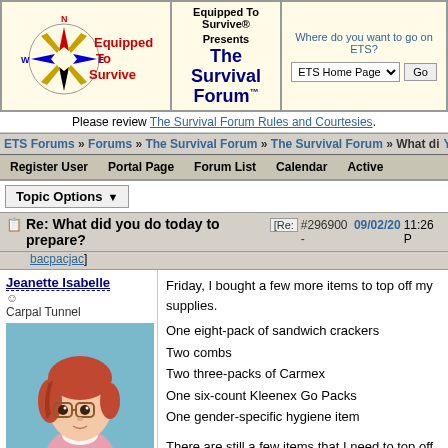[Figure (logo): Equipped To Survive compass logo with red and blue design, text 'Equipped To Survive' in red]
Equipped To Survive® Presents The Survival Forum™ | Where do you want to go on ETS? ETS Home Page [dropdown] Go
Please review The Survival Forum Rules and Courtesies.
ETS Forums » Forums » The Survival Forum » The Survival Forum » What di
Register User  Portal Page  Forum List  Calendar  Active
Topic Options ▼
Re: What did you do today to prepare? [Re: #296900 - 09/02/20 11:26 P bacpacjac]
Jeanette Isabelle
☺
Carpal Tunnel
Registered: 11/13/06
Posts: 2748
Friday, I bought a few more items to top off my supplies.

One eight-pack of sandwich crackers
Two combs
Two three-packs of Carmex
One six-count Kleenex Go Packs
One gender-specific hygiene item

There are still a few items that I need to top off.

Jeanette Isabelle